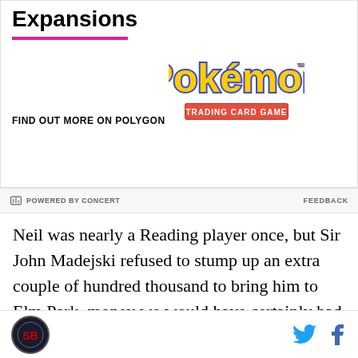Expansions
FIND OUT MORE ON POLYGON
[Figure (logo): Pokémon Trading Card Game logo with yellow lettering and red banner]
POWERED BY CONCERT   FEEDBACK
Neil was nearly a Reading player once, but Sir John Madejski refused to stump up an extra couple of hundred thousand to bring him to Elm Park, money we would have certainly had if Fabien De Freitas hasn't decided to make his only meaningful impact in English
[Figure (logo): Site logo circle and social media icons for Twitter and Facebook]